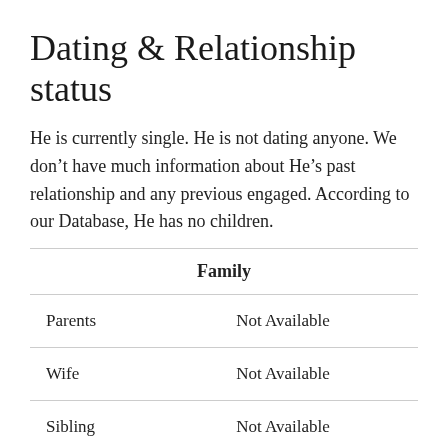Dating & Relationship status
He is currently single. He is not dating anyone. We don’t have much information about He’s past relationship and any previous engaged. According to our Database, He has no children.
| Family |  |
| --- | --- |
| Parents | Not Available |
| Wife | Not Available |
| Sibling | Not Available |
| Children | Zeinab Taeb |